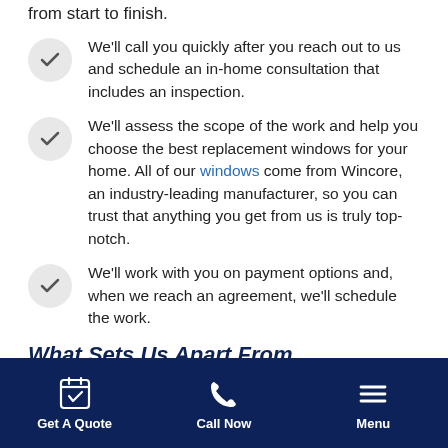from start to finish.
We'll call you quickly after you reach out to us and schedule an in-home consultation that includes an inspection.
We'll assess the scope of the work and help you choose the best replacement windows for your home. All of our windows come from Wincore, an industry-leading manufacturer, so you can trust that anything you get from us is truly top-notch.
We'll work with you on payment options and, when we reach an agreement, we'll schedule the work.
What Sets Us Apart From
Get A Quote   Call Now   Menu